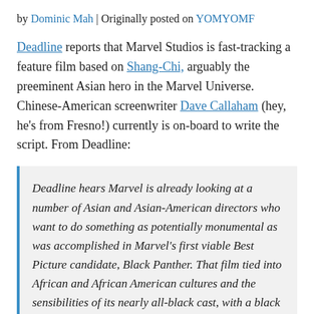by Dominic Mah | Originally posted on YOMYOMF
Deadline reports that Marvel Studios is fast-tracking a feature film based on Shang-Chi, arguably the preeminent Asian hero in the Marvel Universe. Chinese-American screenwriter Dave Callaham (hey, he's from Fresno!) currently is on-board to write the script. From Deadline:
Deadline hears Marvel is already looking at a number of Asian and Asian-American directors who want to do something as potentially monumental as was accomplished in Marvel's first viable Best Picture candidate, Black Panther. That film tied into African and African American cultures and the sensibilities of its nearly all-black cast, with a black director in Ryan Coogler and writer in Joe Robert Cole. The goal here is to do a similar thing: